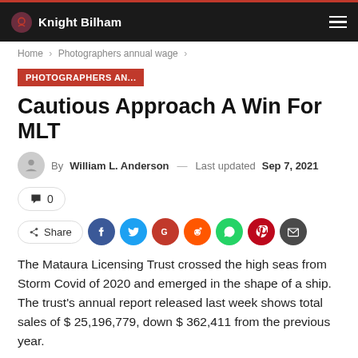Knight Bilham
Home > Photographers annual wage >
PHOTOGRAPHERS AN...
Cautious Approach A Win For MLT
By William L. Anderson — Last updated Sep 7, 2021
0
Share
The Mataura Licensing Trust crossed the high seas from Storm Covid of 2020 and emerged in the shape of a ship.
The trust's annual report released last week shows total sales of $ 25,196,779, down $ 362,411 from the previous year.